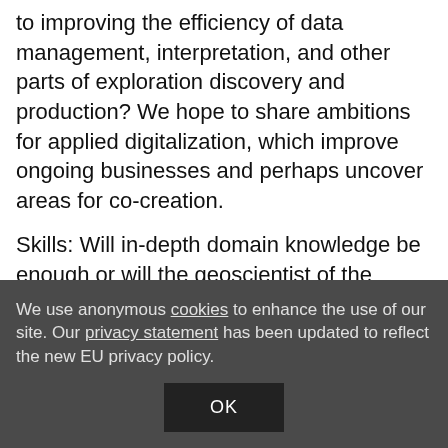to improving the efficiency of data management, interpretation, and other parts of exploration discovery and production? We hope to share ambitions for applied digitalization, which improve ongoing businesses and perhaps uncover areas for co-creation.
Skills: Will in-depth domain knowledge be enough or will the geoscientist of the future need to have hybrid competencies and polymorphic skillset? It is conceivable they may also need to be well versed in the
We use anonymous cookies to enhance the use of our site. Our privacy statement has been updated to reflect the new EU privacy policy.
OK